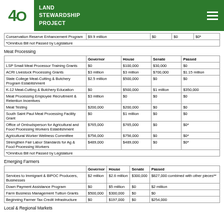Land Stewardship Project
|  | Governor | House | Senate | Passed |
| --- | --- | --- | --- | --- |
| Conservation Reserve Enhancement Program | $9.9 million | $0 | $0 | $0* |
*Omnibus Bill not Passed by Legislature
Meat Processing
|  | Governor | House | Senate | Passed |
| --- | --- | --- | --- | --- |
| LSP Small Meat Processor Training Grants | $0 | $100,000 | $30,000 | $0 |
| ACRI Livestock Processing Grants | $3 million | $3 million | $700,000 | $1.15 million |
| State College Meat-Cutting & Butchery Program Establishment | $2.5 million | $500,000 | $0 | $0 |
| K-12 Meat-Cutting & Butchery Education | $0 | $500,000 | $1 million | $350,000 |
| Meat Processing Employee Recruitment & Retention Incentives | $3 million | $0 | $0 | $0 |
| Meat Testing | $200,000 | $200,000 | $0 | $0 |
| South Saint Paul Meat Processing Facility Grant | $0 | $1 million | $0 | $0 |
| Office of Ombudsperson for Agricultural and Food Processing Workers Establishment | $765,000 | $765,000 | $0 | $0* |
| Agricultural Worker Wellness Committee | $756,000 | $756,000 | $0 | $0* |
| Strengthen Fair Labor Standards for Ag & Food Processing Workers | $489,000 | $489,000 | $0 | $0* |
*Omnibus Bill not Passed by Legislature
Emerging Farmers
|  | Governor | House | Senate | Passed |
| --- | --- | --- | --- | --- |
| Services to Immigrant & BIPOC Producers, Businesses | $2 million | $2.6 million | $300,000 | $827,000 combined with other pieces** |
| Down Payment Assistance Program | $0 | $5 million | $0 | $2 million |
| Farm Business Management Tuition Grants | $500,000 | $300,000 | $0 | $0 |
| Beginning Farmer Tax Credit Infrastructure | $0 | $197,000 | $0 | $254,000 |
Local & Regional Markets